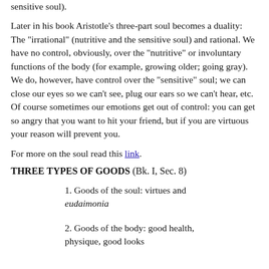sensitive soul).
Later in his book Aristotle's three-part soul becomes a duality: The "irrational" (nutritive and the sensitive soul) and rational. We have no control, obviously, over the "nutritive" or involuntary functions of the body (for example, growing older; going gray). We do, however, have control over the "sensitive" soul; we can close our eyes so we can't see, plug our ears so we can't hear, etc. Of course sometimes our emotions get out of control: you can get so angry that you want to hit your friend, but if you are virtuous your reason will prevent you.
For more on the soul read this link.
THREE TYPES OF GOODS (Bk. I, Sec. 8)
1. Goods of the soul: virtues and eudaimonia
2. Goods of the body: good health, physique, good looks